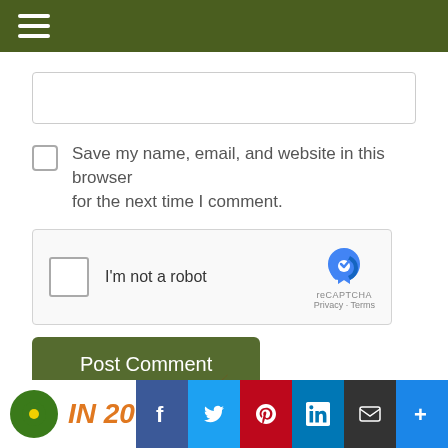Navigation menu bar
[Figure (screenshot): URL input text field (empty)]
Save my name, email, and website in this browser for the next time I comment.
[Figure (screenshot): reCAPTCHA widget with checkbox labeled I'm not a robot and reCAPTCHA logo with Privacy and Terms links]
Post Comment
This site uses Akismet to reduce spam. Learn how your comment data is processed.
Site logo area and social sharing buttons: Facebook, Twitter, Pinterest, LinkedIn, Email, More